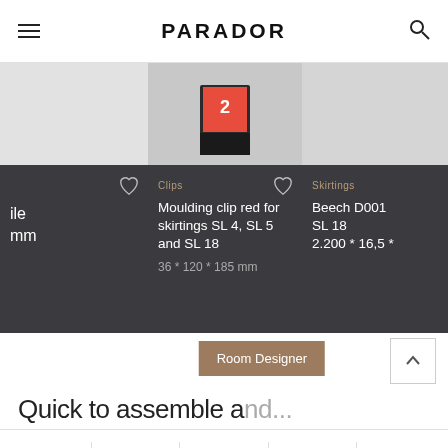PARADOR
[Figure (screenshot): Product card partially visible on left: dark background with heart icon, product name ending in 'ile' and 'mm']
[Figure (screenshot): Product card center: Clips category, Moulding clip red for skirtings SL 4, SL 5 and SL 18, 36 * 120 * 185 mm, with heart icon and product image]
[Figure (screenshot): Product card partially visible on right: Skirtings category, Beech D001, SL 18, 2.200 * 16,5 *]
Quick to assemble and...
Compare | calculator icon | 3D icon | location icon | book icon